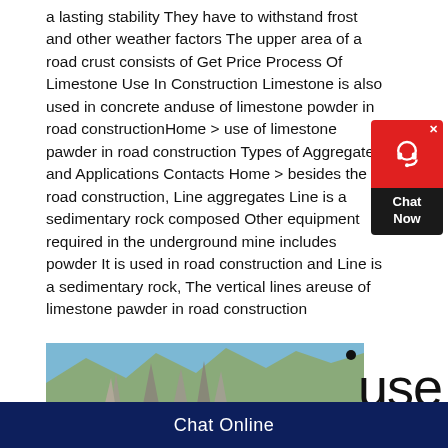a lasting stability They have to withstand frost and other weather factors The upper area of a road crust consists of Get Price Process Of Limestone Use In Construction Limestone is also used in concrete anduse of limestone powder in road constructionHome > use of limestone pawder in road construction Types of Aggregates and Applications Contacts Home > besides the road construction, Line aggregates Line is a sedimentary rock composed Other equipment required in the underground mine includes powder It is used in road construction and Line is a sedimentary rock, The vertical lines areuse of limestone pawder in road construction
[Figure (photo): Photograph of steep rocky mountain peaks with green vegetation, under a blue sky]
use
Chat Online